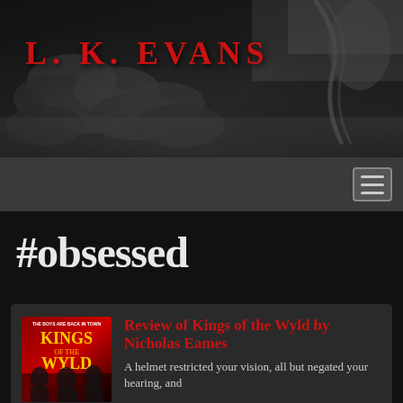[Figure (photo): Black and white photo of armor/scales with a hand or leg visible, dark fantasy aesthetic. Author name 'L. K. EVANS' overlaid in red text.]
L. K. EVANS
#obsessed
[Figure (photo): Book cover for 'Kings of the Wyld' showing fantasy warriors, red and dark tones, text 'THE BOYS ARE BACK IN TOWN' at top.]
Review of Kings of the Wyld by Nicholas Eames
A helmet restricted your vision, all but negated your hearing, and